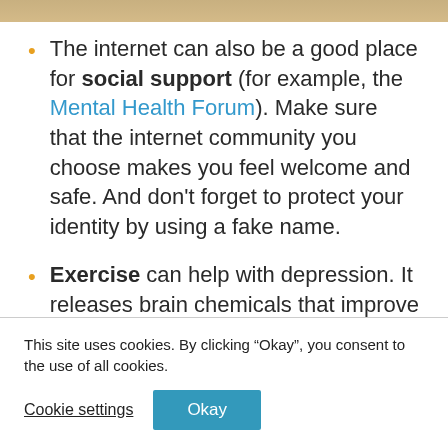[Figure (photo): Top banner image with warm/golden tones, partially visible at top of page]
The internet can also be a good place for social support (for example, the Mental Health Forum). Make sure that the internet community you choose makes you feel welcome and safe. And don't forget to protect your identity by using a fake name.
Exercise can help with depression. It releases brain chemicals that improve our [text cut off]
This site uses cookies. By clicking “Okay”, you consent to the use of all cookies.
Cookie settings  Okay